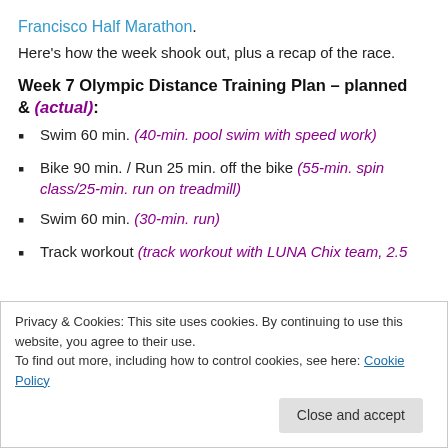Francisco Half Marathon.
Here's how the week shook out, plus a recap of the race.
Week 7 Olympic Distance Training Plan – planned & (actual):
Swim 60 min. (40-min. pool swim with speed work)
Bike 90 min. / Run 25 min. off the bike (55-min. spin class/25-min. run on treadmill)
Swim 60 min. (30-min. run)
Track workout (track workout with LUNA Chix team, 2.5
Privacy & Cookies: This site uses cookies. By continuing to use this website, you agree to their use. To find out more, including how to control cookies, see here: Cookie Policy